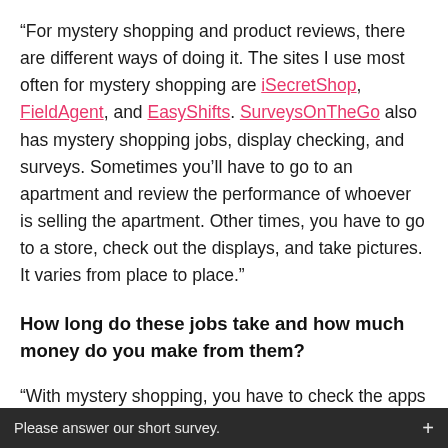“For mystery shopping and product reviews, there are different ways of doing it. The sites I use most often for mystery shopping are iSecretShop, FieldAgent, and EasyShifts. SurveysOnTheGo also has mystery shopping jobs, display checking, and surveys. Sometimes you’ll have to go to an apartment and review the performance of whoever is selling the apartment. Other times, you have to go to a store, check out the displays, and take pictures. It varies from place to place.”
How long do these jobs take and how much money do you make from them?
“With mystery shopping, you have to check the apps
Please answer our short survey.